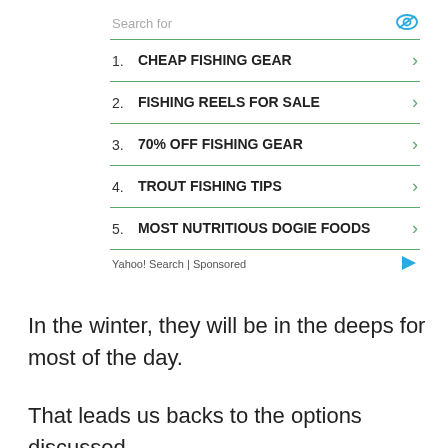[Figure (screenshot): Yahoo Search sponsored ad widget showing 5 search items: 1. CHEAP FISHING GEAR, 2. FISHING REELS FOR SALE, 3. 70% OFF FISHING GEAR, 4. TROUT FISHING TIPS, 5. MOST NUTRITIOUS DOGIE FOODS. Header says 'Search for' with eye icon. Footer says 'Yahoo! Search | Sponsored' with play icon.]
In the winter, they will be in the deeps for most of the day.
That leads us backs to the options discussed